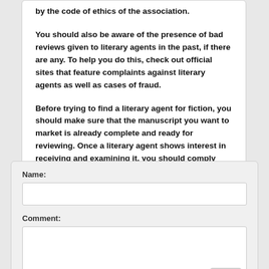by the code of ethics of the association. You should also be aware of the presence of bad reviews given to literary agents in the past, if there are any. To help you do this, check out official sites that feature complaints against literary agents as well as cases of fraud.
Before trying to find a literary agent for fiction, you should make sure that the manuscript you want to market is already complete and ready for reviewing. Once a literary agent shows interest in receiving and examining it, you should comply with the requests of the agency in a timely manner.
Name:
Comment: